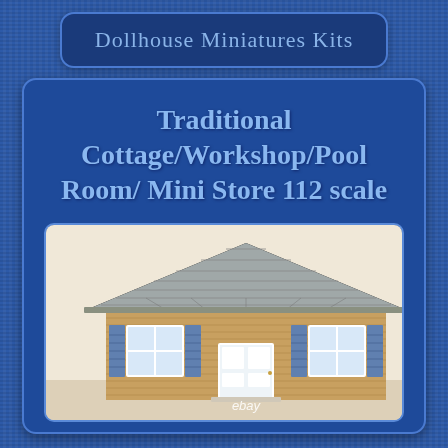Dollhouse Miniatures Kits
Traditional Cottage/Workshop/Pool Room/ Mini Store 112 scale
[Figure (photo): Photograph of a miniature dollhouse model — a traditional cottage with gray shingled roof, tan/wood siding, white-framed windows with blue shutters, and a central white door. The model sits on a white surface. An eBay watermark appears at the bottom.]